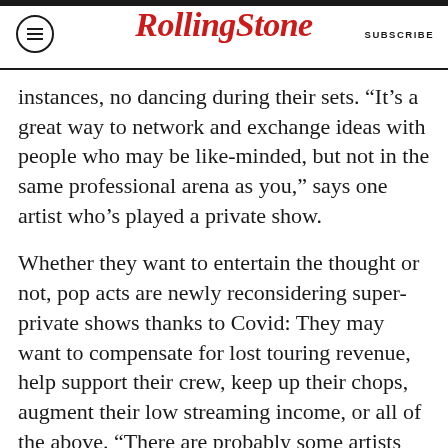Rolling Stone  SUBSCRIBE
instances, no dancing during their sets. “It’s a great way to network and exchange ideas with people who may be like-minded, but not in the same professional arena as you,” says one artist who’s played a private show.
Whether they want to entertain the thought or not, pop acts are newly reconsidering super-private shows thanks to Covid: They may want to compensate for lost touring revenue, help support their crew, keep up their chops, augment their low streaming income, or all of the above. “There are probably some artists out there who will try to make up for lost time and be a bit more active than they might have otherwise been,” says Red Light’s Monty. “People have a sense of obligation